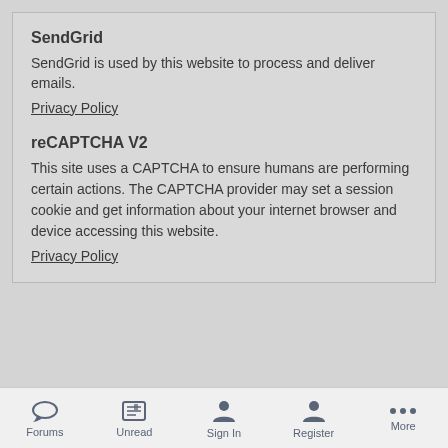SendGrid
SendGrid is used by this website to process and deliver emails.
Privacy Policy
reCAPTCHA V2
This site uses a CAPTCHA to ensure humans are performing certain actions. The CAPTCHA provider may set a session cookie and get information about your internet browser and device accessing this website.
Privacy Policy
Forums  Unread  Sign In  Register  More